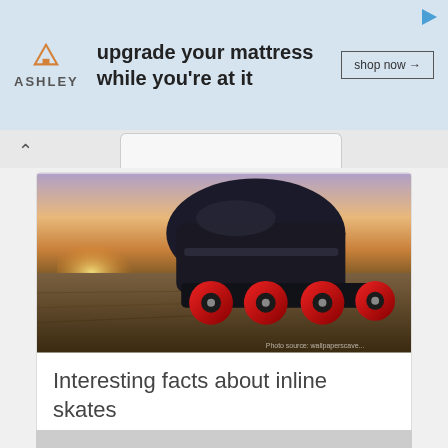[Figure (screenshot): Ashley Furniture advertisement banner with orange house logo, bold text 'upgrade your mattress while you're at it', and a 'shop now →' button on light blue background]
[Figure (photo): Close-up photo of inline skates with black boot and red wheels speeding on a road surface, dramatic sunset lighting in background. Watermark reads 'Photo source: wallpaperscave...']
Interesting facts about inline skates